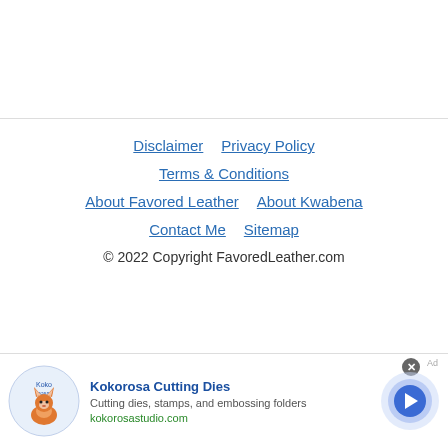Disclaimer
Privacy Policy
Terms & Conditions
About Favored Leather
About Kwabena
Contact Me
Sitemap
© 2022 Copyright FavoredLeather.com
[Figure (other): Advertisement banner for Kokorosa Cutting Dies. Includes logo with fox mascot, text: Kokorosa Cutting Dies, Cutting dies, stamps, and embossing folders, kokorosastudio.com, with a blue circle arrow button on the right.]